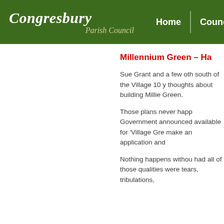Congresbury Parish Council — Home | Council Inform
Millennium Green – Ha
Sue Grant and a few oth south of the Village 10 y thoughts about building Millie Green.
Those plans never happ Government announced available for 'Village Gre make an application and
Nothing happens withou had all of those qualities were tears, tribulations,